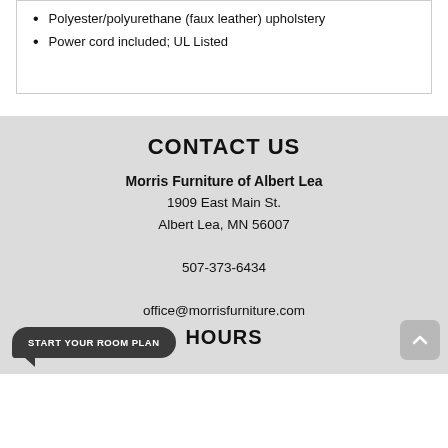Polyester/polyurethane (faux leather) upholstery
Power cord included; UL Listed
CONTACT US
Morris Furniture of Albert Lea
1909 East Main St.
Albert Lea, MN 56007
507-373-6434
office@morrisfurniture.com
HOURS